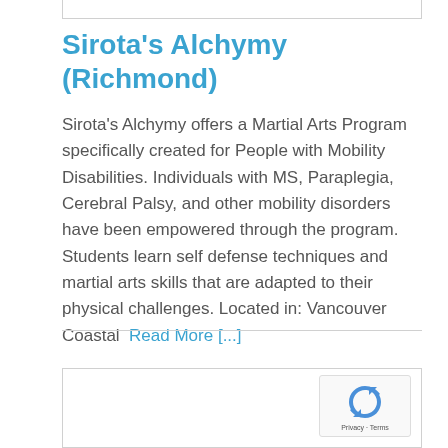Sirota's Alchymy (Richmond)
Sirota's Alchymy offers a Martial Arts Program specifically created for People with Mobility Disabilities. Individuals with MS, Paraplegia, Cerebral Palsy, and other mobility disorders have been empowered through the program. Students learn self defense techniques and martial arts skills that are adapted to their physical challenges. Located in: Vancouver Coastal  Read More [...]
[Figure (logo): reCAPTCHA badge with recycling arrow icon and Privacy · Terms text]